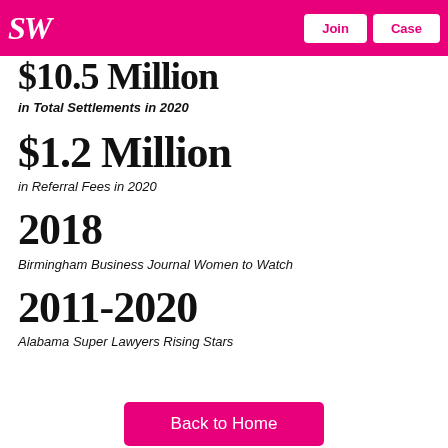SW | Join | Case
$10.5 Million
in Total Settlements in 2020
$1.2 Million
in Referral Fees in 2020
2018
Birmingham Business Journal Women to Watch
2011-2020
Alabama Super Lawyers Rising Stars
Back to Home